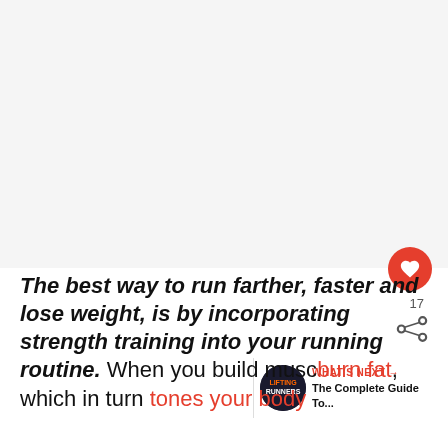[Figure (photo): Large image placeholder area at the top of the page (appears light/blank in the visible portion)]
The best way to run farther, faster and lose weight, is by incorporating strength training into your running routine. When you build muscle burn fat, which in turn tones your body